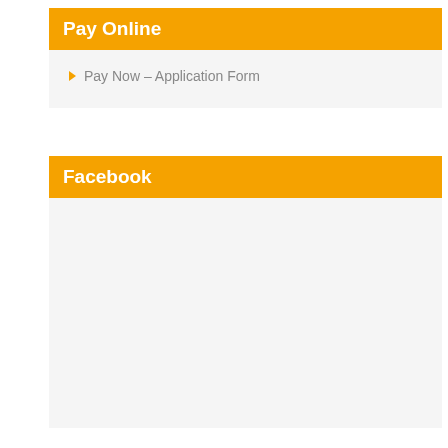Pay Online
Pay Now – Application Form
Facebook